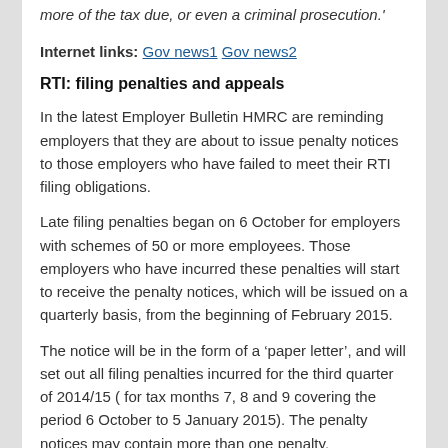more of the tax due, or even a criminal prosecution.'
Internet links: Gov news1 Gov news2
RTI: filing penalties and appeals
In the latest Employer Bulletin HMRC are reminding employers that they are about to issue penalty notices to those employers who have failed to meet their RTI filing obligations.
Late filing penalties began on 6 October for employers with schemes of 50 or more employees. Those employers who have incurred these penalties will start to receive the penalty notices, which will be issued on a quarterly basis, from the beginning of February 2015.
The notice will be in the form of a ‘paper letter’, and will set out all filing penalties incurred for the third quarter of 2014/15 ( for tax months 7, 8 and 9 covering the period 6 October to 5 January 2015). The penalty notices may contain more than one penalty.